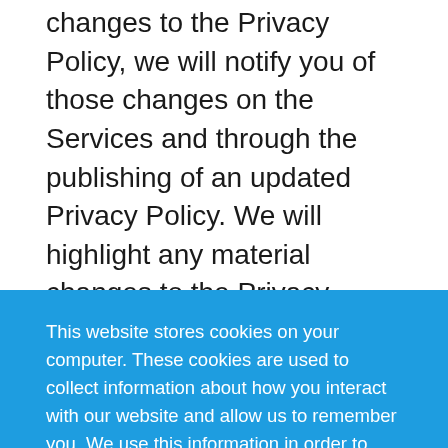sole discretion. However, if at any time we make material changes to the Privacy Policy, we will notify you of those changes on the Services and through the publishing of an updated Privacy Policy. We will highlight any material changes to the Privacy Policy (the information we collect,
This website stores cookies on your computer. These cookies are used to collect information about how you interact with our website and allow us to remember you. We use this information in order to improve and customize your browsing experience and for analytics about our website visitors. To find out more about the cookies we use, see our Privacy Policy
Got it